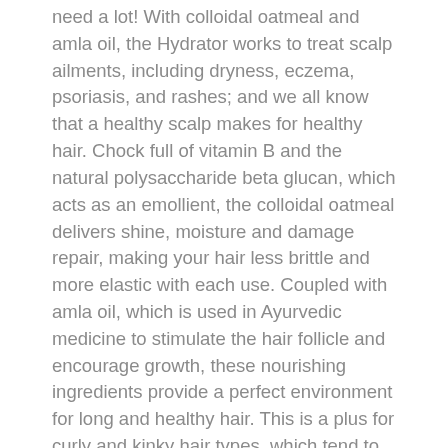need a lot! With colloidal oatmeal and amla oil, the Hydrator works to treat scalp ailments, including dryness, eczema, psoriasis, and rashes; and we all know that a healthy scalp makes for healthy hair. Chock full of vitamin B and the natural polysaccharide beta glucan, which acts as an emollient, the colloidal oatmeal delivers shine, moisture and damage repair, making your hair less brittle and more elastic with each use. Coupled with amla oil, which is used in Ayurvedic medicine to stimulate the hair follicle and encourage growth, these nourishing ingredients provide a perfect environment for long and healthy hair. This is a plus for curly and kinky hair types, which tend to be more prone to mechanical and manipulation damage.
A favorite of, @jillian.harris!!
Features:
100% essential oil
Vegan + cruelty-free